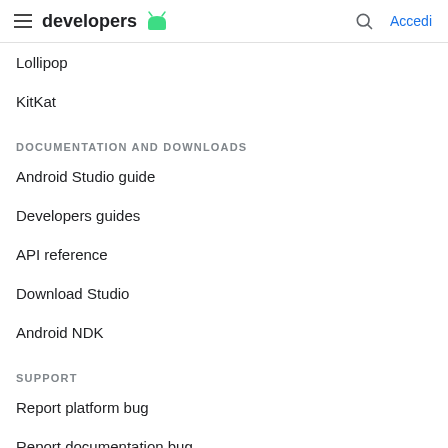developers  Accedi
Lollipop
KitKat
DOCUMENTATION AND DOWNLOADS
Android Studio guide
Developers guides
API reference
Download Studio
Android NDK
SUPPORT
Report platform bug
Report documentation bug